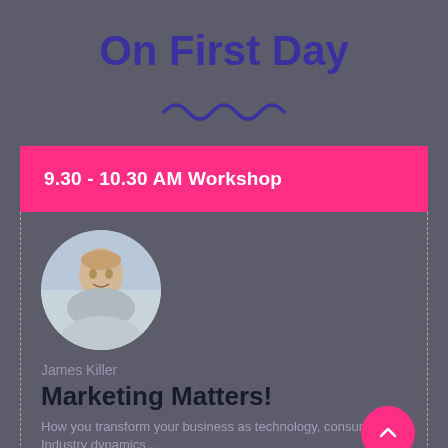On First Day
[Figure (illustration): Decorative squiggle/wave divider line in dark purple/violet color]
9.30 - 10.30 AM Workshop
[Figure (photo): Circular portrait photo of a young man smiling, wearing a grey t-shirt, seated outdoors]
James Killer
Marketing Matters!
How you transform your business as technology, consumer, Industry dynamics...